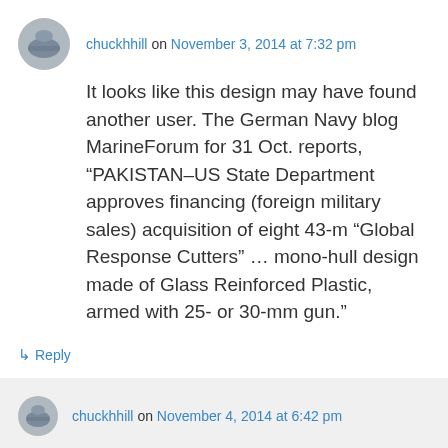chuckhhill on November 3, 2014 at 7:32 pm
It looks like this design may have found another user. The German Navy blog MarineForum for 31 Oct. reports, “PAKISTAN–US State Department approves financing (foreign military sales) acquisition of eight 43-m “Global Response Cutters” … mono-hull design made of Glass Reinforced Plastic, armed with 25- or 30-mm gun.”
↳ Reply
chuckhhill on November 4, 2014 at 6:42 pm
Apparently the vessels bought for Pakistan were a different class, one we talked about